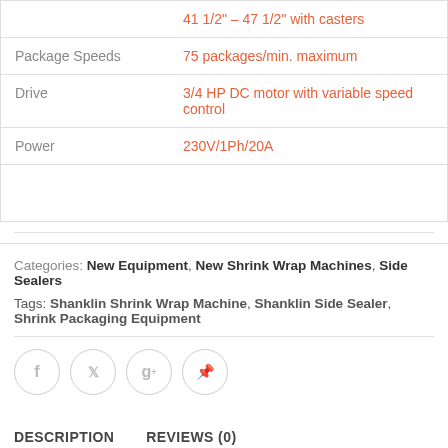| Specification | Value |
| --- | --- |
|  | 41 1/2" – 47 1/2" with casters |
| Package Speeds | 75 packages/min. maximum |
| Drive | 3/4 HP DC motor with variable speed control |
| Power | 230V/1Ph/20A |
|  |  |
Categories: New Equipment, New Shrink Wrap Machines, Side Sealers
Tags: Shanklin Shrink Wrap Machine, Shanklin Side Sealer, Shrink Packaging Equipment
DESCRIPTION   REVIEWS (0)